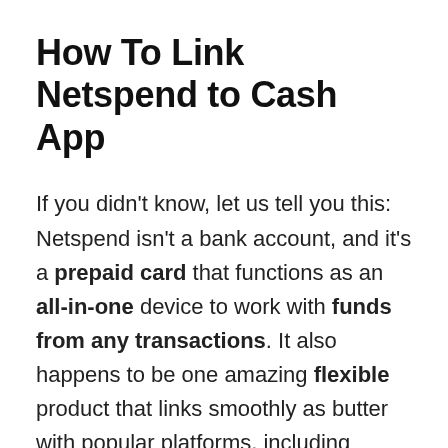How To Link Netspend to Cash App
If you didn't know, let us tell you this: Netspend isn't a bank account, and it's a prepaid card that functions as an all-in-one device to work with funds from any transactions. It also happens to be one amazing flexible product that links smoothly as butter with popular platforms, including PayPal and Cash App.
Before you proceed to add a Netspend card,